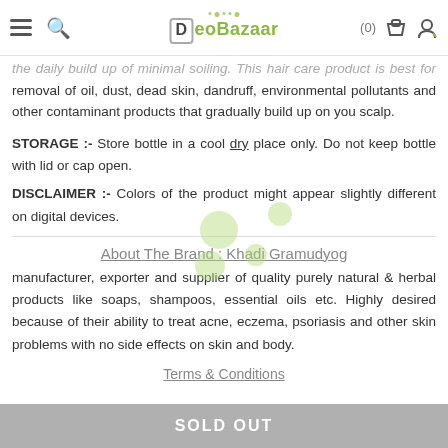DeoBazaar (0)
the daily build up of minimal soiling. This hair care product is best for removal of oil, dust, dead skin, dandruff, environmental pollutants and other contaminant products that gradually build up on you scalp.
STORAGE :- Store bottle in a cool dry place only. Do not keep bottle with lid or cap open.
DISCLAIMER :- Colors of the product might appear slightly different on digital devices.
About The Brand : Khadi Gramudyog
manufacturer, exporter and supplier of quality purely natural & herbal products like soaps, shampoos, essential oils etc. Highly desired because of their ability to treat acne, eczema, psoriasis and other skin problems with no side effects on skin and body.
Terms & Conditions
SOLD OUT